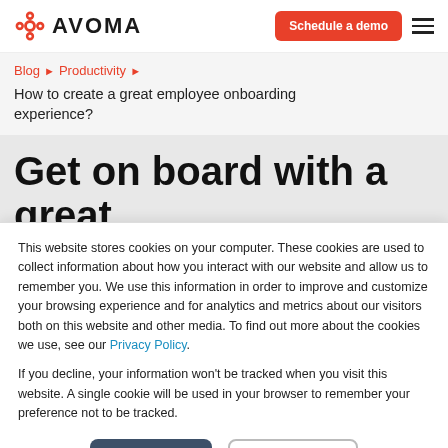Avoma — Schedule a demo
Blog ▶ Productivity ▶
How to create a great employee onboarding experience?
Get on board with a great employee onboarding process
This website stores cookies on your computer. These cookies are used to collect information about how you interact with our website and allow us to remember you. We use this information in order to improve and customize your browsing experience and for analytics and metrics about our visitors both on this website and other media. To find out more about the cookies we use, see our Privacy Policy.
If you decline, your information won't be tracked when you visit this website. A single cookie will be used in your browser to remember your preference not to be tracked.
Accept   Decline